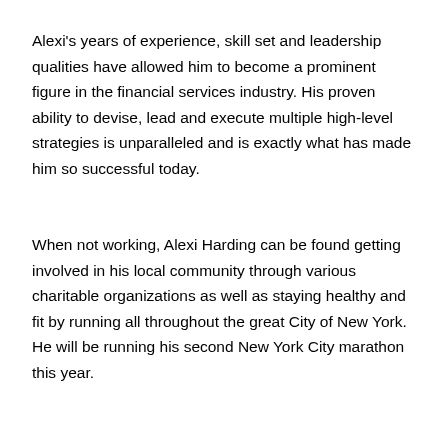Alexi's years of experience, skill set and leadership qualities have allowed him to become a prominent figure in the financial services industry. His proven ability to devise, lead and execute multiple high-level strategies is unparalleled and is exactly what has made him so successful today.
When not working, Alexi Harding can be found getting involved in his local community through various charitable organizations as well as staying healthy and fit by running all throughout the great City of New York. He will be running his second New York City marathon this year.